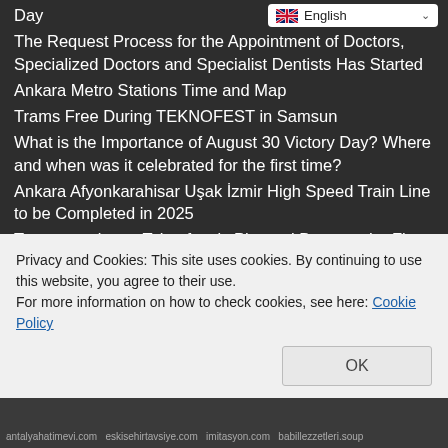Day
The Request Process for the Appointment of Doctors, Specialized Doctors and Specialist Dentists Has Started
Ankara Metro Stations Time and Map
Trams Free During TEKNOFEST in Samsun
What is the Importance of August 30 Victory Day? Where and when was it celebrated for the first time?
Ankara Afyonkarahisar Uşak İzmir High Speed Train Line to be Completed in 2025
Transportation to Teknofest is Planned Down to the Finest Detail in Samsun
Why Did Famous Rapper Selim Muran Die? Who is Selim Muran, where is he from, how old is he?
What is a Genetic Engineer, What Does He Do, How to Become?
Privacy and Cookies: This site uses cookies. By continuing to use this website, you agree to their use.
For more information on how to check cookies, see here: Cookie Policy
OK